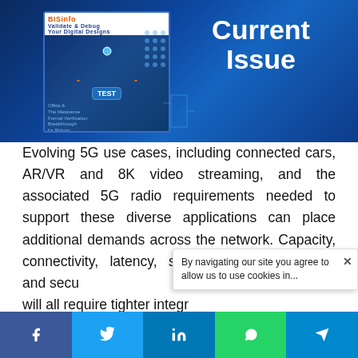[Figure (photo): Magazine cover for BISinfotainment showing 'Validate & Debug Your Digital Designs' with electronic circuit board background, alongside bold 'Current Issue' text in white]
Evolving 5G use cases, including connected cars, AR/VR and 8K video streaming, and the associated 5G radio requirements needed to support these diverse applications can place additional demands across the network. Capacity, connectivity, latency, synchronization, reliability and security will all require tighter integration be...
[Figure (screenshot): Cookie consent popup: 'By navigating our site you agree to allow us to use cookies in...' with X close button]
[Figure (infographic): Social media share bar at bottom with Facebook, Twitter, LinkedIn, WhatsApp, and Telegram icons]